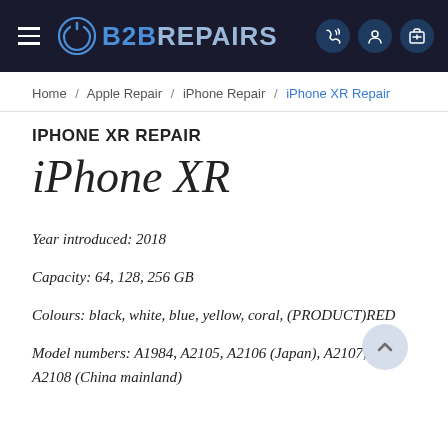B2BREPAIRS
Home / Apple Repair / iPhone Repair / iPhone XR Repair
IPHONE XR REPAIR
iPhone XR
Year introduced: 2018
Capacity: 64, 128, 256 GB
Colours: black, white, blue, yellow, coral, (PRODUCT)RED
Model numbers: A1984, A2105, A2106 (Japan), A2107, A2108 (China mainland)